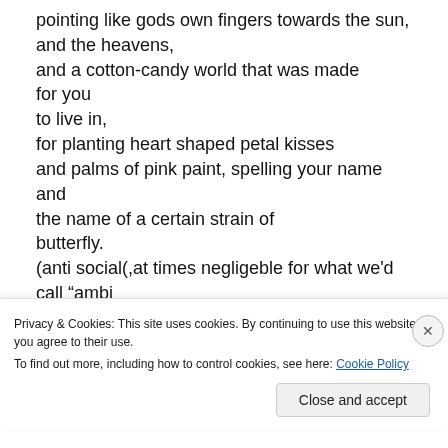pointing like gods own fingers towards the sun,
and the heavens,
and a cotton-candy world that was made
for you
to live in,
for planting heart shaped petal kisses
and palms of pink paint, spelling your name and
the name of a certain strain of
butterfly.
(anti social(,at times negligeble for what we'd call "ambi
Privacy & Cookies: This site uses cookies. By continuing to use this website, you agree to their use.
To find out more, including how to control cookies, see here: Cookie Policy